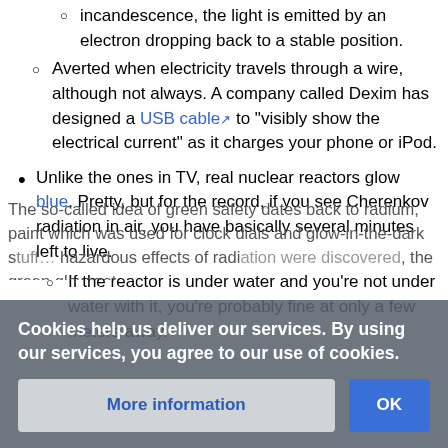incandescence, the light is emitted by an electron dropping back to a stable position.
Averted when electricity travels through a wire, although not always. A company called Dexim has designed a USB cable [link] to "visibly show the electrical current" as it charges your phone or iPod.
Unlike the ones in TV, real nuclear reactors glow blue. Pretty, but for the record, if you see Cherenkov radiation in air, you have basically several minutes left to live.
If the reactor is under water and you're not under water with it, you're probably fine at only a few meters away.
The so-called idea of green safety dates back to radium, paint, which was used for clock dials and glow-in-the-dark stuff...hazardous effects of radiation were discovered, the green glow got
Cookies help us deliver our services. By using our services, you agree to our use of cookies.